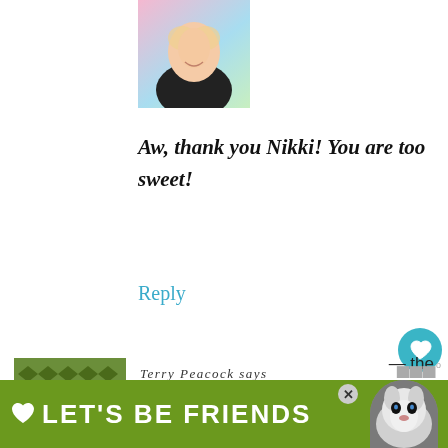[Figure (photo): Profile photo of a smiling woman with blonde hair in a black top, pastel colored background]
Aw, thank you Nikki! You are too sweet!
Reply
[Figure (illustration): Geometric quilt-pattern avatar in dark olive green with diamond shapes]
Terry Peacock says
JANUARY 22, 2018 AT 9:11 AM
Thank YOU Cindy… for giving those who
[Figure (illustration): LET'S BE FRIENDS advertisement banner in green with a husky dog image]
— the